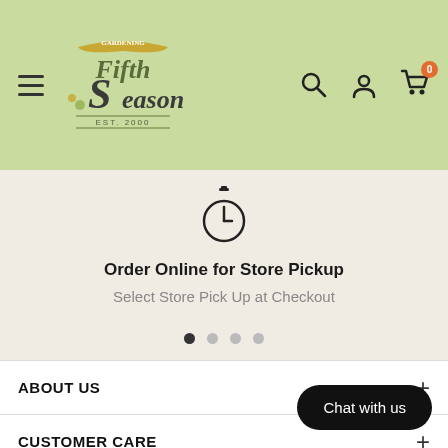[Figure (screenshot): Fifth Season gardening store website header with logo, hamburger menu, search icon, account icon, and cart icon with 0 badge on green background]
Order Online for Store Pickup
Select Store Pick Up at Checkout
[Figure (other): Carousel navigation dots — 4 dots, first one active/dark]
ABOUT US
CUSTOMER CARE
Chat with us